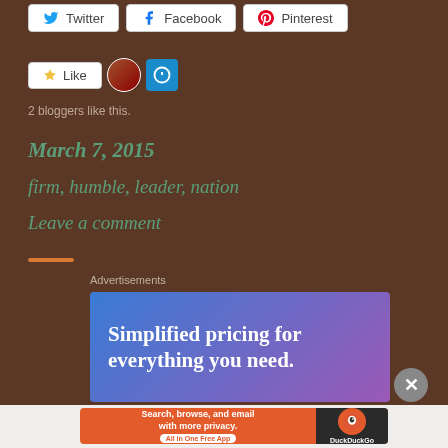[Figure (screenshot): Social share buttons: Twitter, Facebook, Pinterest]
[Figure (screenshot): Like button with star icon, user avatar, and power/settings icon]
2 bloggers like this.
March 7, 2015
firm, humble, leader, nation
Leave a comment
[Figure (other): Orange horizontal divider line]
Advertisements
[Figure (screenshot): Ad banner: Simplified pricing for everything you need.]
[Figure (screenshot): DuckDuckGo ad banner: Search, browse, and email with more privacy. All in One Free App]